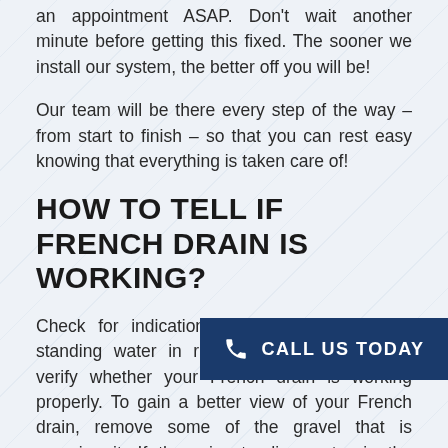an appointment ASAP. Don't wait another minute before getting this fixed. The sooner we install our system, the better off you will be!
Our team will be there every step of the way – from start to finish – so that you can rest easy knowing that everything is taken care of!
HOW TO TELL IF FRENCH DRAIN IS WORKING?
Check for indications of basement leaks or standing water in regularly drained areas to verify whether your French drain is working properly. To gain a better view of your French drain, remove some of the gravel that is covering it. If there is standing water in the drainage working properly. Finding the point where your French drain terminates is a great technique to see whether water is exiting the draining as it should.